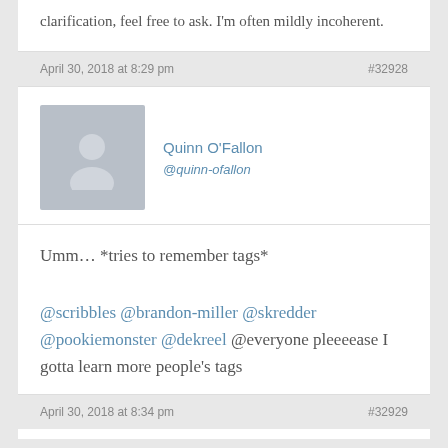clarification, feel free to ask. I'm often mildly incoherent.
April 30, 2018 at 8:29 pm   #32928
Quinn O'Fallon
@quinn-ofallon
Umm… *tries to remember tags*
@scribbles @brandon-miller @skredder @pookiemonster @dekreel @everyone pleeeease I gotta learn more people's tags
April 30, 2018 at 8:34 pm   #32929